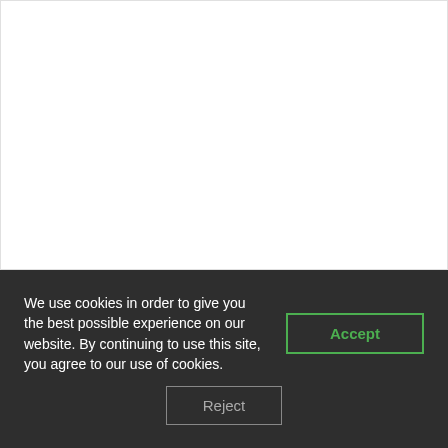[Figure (other): White blank area representing a web page content area]
We use cookies in order to give you the best possible experience on our website. By continuing to use this site, you agree to our use of cookies.
Accept
Reject